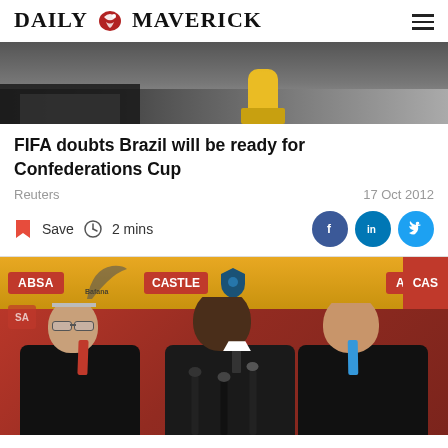DAILY MAVERICK
[Figure (photo): Top portion of a news article header photo showing what appears to be a person in yellow clothing crouching near dark geometric shapes on the ground.]
FIFA doubts Brazil will be ready for Confederations Cup
Reuters
17 Oct 2012
Save  2 mins
[Figure (photo): Press conference photo showing three men in dark suits sitting at a table with ABSA and CASTLE sponsor banners behind them. Microphones are visible in the foreground.]